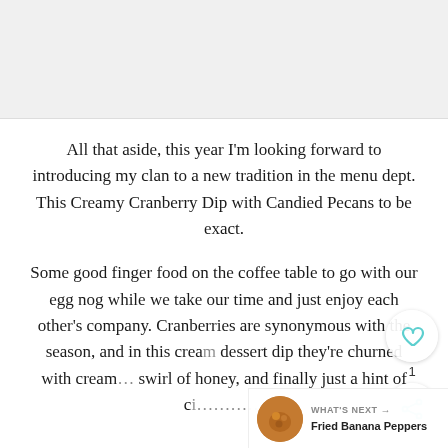[Figure (photo): Cropped image area at top of page, content not visible]
All that aside, this year I'm looking forward to introducing my clan to a new tradition in the menu dept. This Creamy Cranberry Dip with Candied Pecans to be exact.
Some good finger food on the coffee table to go with our egg nog while we take our time and just enjoy each other's company. Cranberries are synonymous with the season, and in this creamy dessert dip they're churned with cream cheese, a swirl of honey, and finally just a hint of ci…